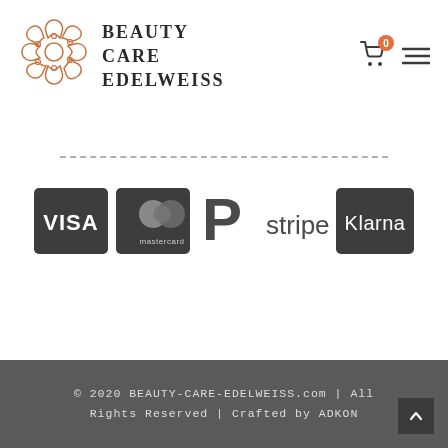[Figure (logo): Beauty Care Edelweiss logo: an ornate copper/orange geometric floral/snowflake puzzle shape on the left, with brand name 'BEAUTY CARE EDELWEISS' in bold serif capitals on the right. Navigation icons (cart with badge 0, hamburger menu) on far right.]
[Figure (other): Dotted/dashed horizontal divider line across the page]
[Figure (other): Row of payment method logos: VISA (dark rounded rectangle), Mastercard (dark rounded rectangle with overlapping circles), PayPal (dark P logo), Stripe (text logo), Klarna (dark rounded rectangle)]
© 2020 BEAUTY-CARE-EDELWEISS.com | All Rights Reserved | Crafted by ADKON